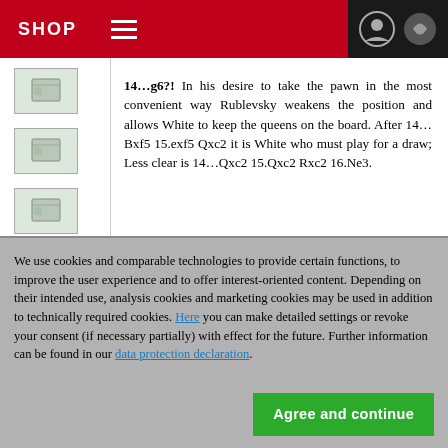SHOP
[Figure (screenshot): Four thumbnail images in a left sidebar panel]
14...g6?! In his desire to take the pawn in the most convenient way Rublevsky weakens the position and allows White to keep the queens on the board. After 14...Bxf5 15.exf5 Qxc2 it is White who must play for a draw; Less clear is 14...Qxc2 15.Qxc2 Rxc2 16.Ne3.
We use cookies and comparable technologies to provide certain functions, to improve the user experience and to offer interest-oriented content. Depending on their intended use, analysis cookies and marketing cookies may be used in addition to technically required cookies. Here you can make detailed settings or revoke your consent (if necessary partially) with effect for the future. Further information can be found in our data protection declaration.